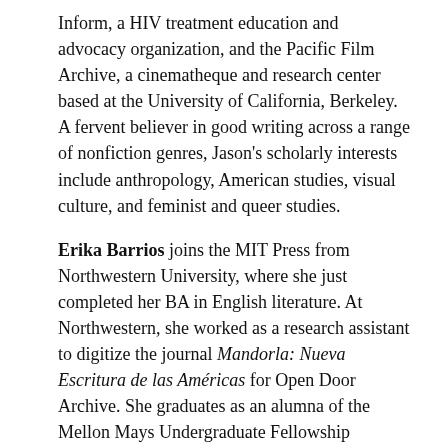Inform, a HIV treatment education and advocacy organization, and the Pacific Film Archive, a cinematheque and research center based at the University of California, Berkeley. A fervent believer in good writing across a range of nonfiction genres, Jason's scholarly interests include anthropology, American studies, visual culture, and feminist and queer studies.
Erika Barrios joins the MIT Press from Northwestern University, where she just completed her BA in English literature. At Northwestern, she worked as a research assistant to digitize the journal Mandorla: Nueva Escritura de las Américas for Open Door Archive. She graduates as an alumna of the Mellon Mays Undergraduate Fellowship Program, having written her honors thesis on the use of language technology in contemporary US Latinx poetry. Her research interests include twentieth- and twenty-first-century poetry and poetics, digital humanities, hemispheric American literature, and literary responses to neoliberalism.